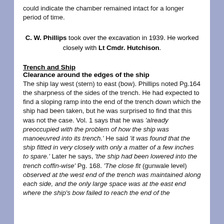could indicate the chamber remained intact for a longer period of time.
C. W. Phillips took over the excavation in 1939. He worked closely with Lt Cmdr. Hutchison.
Trench and Ship
Clearance around the edges of the ship
The ship lay west (stern) to east (bow). Phillips noted Pg.164 the sharpness of the sides of the trench. He had expected to find a sloping ramp into the end of the trench down which the ship had been taken, but he was surprised to find that this was not the case. Vol. 1 says that he was 'already preoccupied with the problem of how the ship was manoeuvred into its trench.' He said 'it was found that the ship fitted in very closely with only a matter of a few inches to spare.' Later he says, 'the ship had been lowered into the trench coffin-wise' Pg. 168. 'The close fit (gunwale level) observed at the west end of the trench was maintained along each side, and the only large space was at the east end where the ship's bow failed to reach the end of the